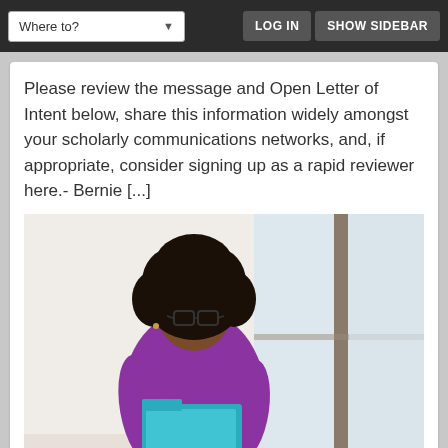Where to? | LOG IN | SHOW SIDEBAR
Please review the message and Open Letter of Intent below, share this information widely amongst your scholarly communications networks, and, if appropriate, consider signing up as a rapid reviewer here.- Bernie [...]
[Figure (photo): A person with curly hair wearing a purple shirt, leaning against a wall near a bright window, reading a teal/blue folder or document.]